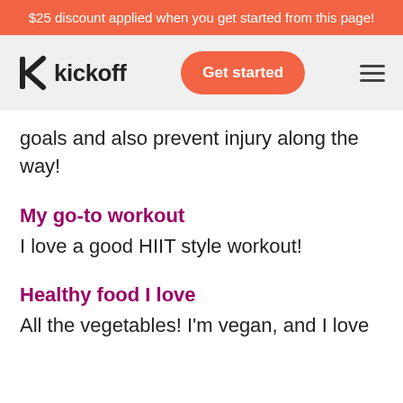$25 discount applied when you get started from this page!
[Figure (logo): Kickoff logo with stylized K icon and 'kickoff' wordmark, plus Get started button and hamburger menu]
goals and also prevent injury along the way!
My go-to workout
I love a good HIIT style workout!
Healthy food I love
All the vegetables! I'm vegan, and I love